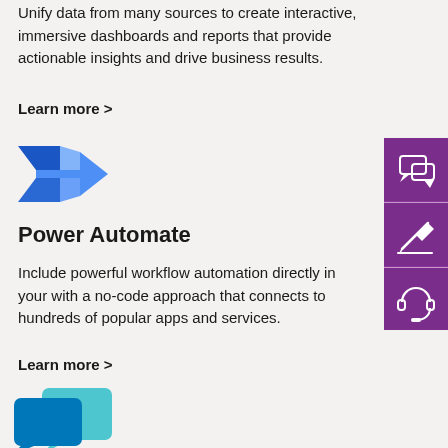Unify data from many sources to create interactive, immersive dashboards and reports that provide actionable insights and drive business results.
Learn more >
[Figure (logo): Power Automate logo - blue arrow/chevron shape]
Power Automate
Include powerful workflow automation directly in your with a no-code approach that connects to hundreds of popular apps and services.
Learn more >
[Figure (logo): Microsoft chatbot/virtual agent logo - teal speech bubble shapes]
[Figure (infographic): Purple sidebar with three icon buttons: chat/speech bubbles, pencil/edit, headset/support icons]